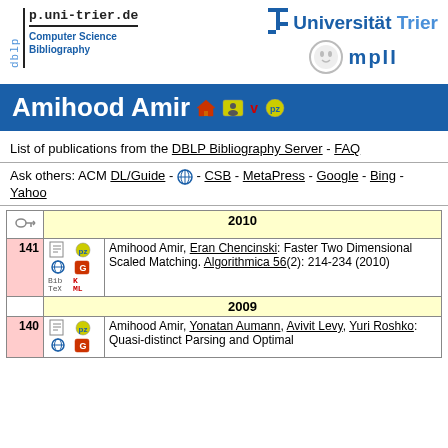[Figure (logo): DBLP .uni-trier.de Computer Science Bibliography logo on left, Universität Trier and MPII logos on right]
Amihood Amir
List of publications from the DBLP Bibliography Server - FAQ
Ask others: ACM DL/Guide - [icon] - CSB - MetaPress - Google - Bing - Yahoo
|  |  |  | 2010 |
| --- | --- | --- | --- |
| 141 | [icons] | Amihood Amir, Eran Chencinski: Faster Two Dimensional Scaled Matching. Algorithmica 56(2): 214-234 (2010) |
|  |  | 2009 |
| 140 | [icons] | Amihood Amir, Yonatan Aumann, Avivit Levy, Yuri Roshko: Quasi-distinct Parsing and Optimal |